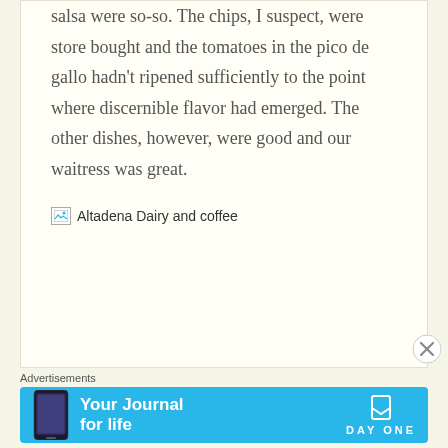salsa were so-so. The chips, I suspect, were store bought and the tomatoes in the pico de gallo hadn't ripened sufficiently to the point where discernible flavor had emerged. The other dishes, however, were good and our waitress was great.
[Figure (photo): Broken image placeholder with alt text 'Altadena Dairy and coffee']
Advertisements
[Figure (screenshot): Advertisement banner for Day One app - 'Your Journal for life' on a blue background with phone image and Day One logo]